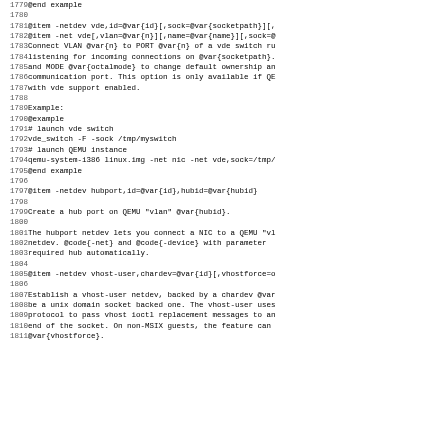1779 @end example
1780
1781 @item -netdev vde,id=@var{id}[,sock=@var{socketpath}][,
1782 @item -net vde[,vlan=@var{n}][,name=@var{name}][,sock=@
1783 Connect VLAN @var{n} to PORT @var{n} of a vde switch ru
1784 listening for incoming connections on @var{socketpath}.
1785 and MODE @var{octalmode} to change default ownership an
1786 communication port. This option is only available if QE
1787 with vde support enabled.
1788
1789 Example:
1790 @example
1791 # launch vde switch
1792 vde_switch -F -sock /tmp/myswitch
1793 # launch QEMU instance
1794 qemu-system-i386 linux.img -net nic -net vde,sock=/tmp/
1795 @end example
1796
1797 @item -netdev hubport,id=@var{id},hubid=@var{hubid}
1798
1799 Create a hub port on QEMU "vlan" @var{hubid}.
1800
1801 The hubport netdev lets you connect a NIC to a QEMU "vl
1802 netdev.  @code{-net} and @code{-device} with parameter
1803 required hub automatically.
1804
1805 @item -netdev vhost-user,chardev=@var{id}[,vhostforce=o
1806
1807 Establish a vhost-user netdev, backed by a chardev @var
1808 be a unix domain socket backed one. The vhost-user uses
1809 protocol to pass vhost ioctl replacement messages to an
1810 end of the socket. On non-MSIX guests, the feature can
1811 @var{vhostforce}.